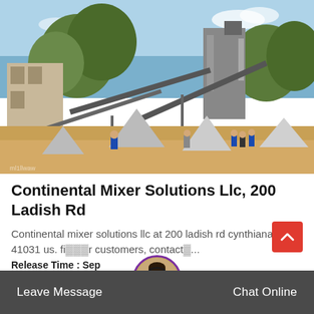[Figure (photo): Industrial quarry/crushing plant site with conveyor belts, gravel piles, and workers in hard hats and blue coveralls on sandy ground, with trees and buildings in background under blue sky.]
Continental Mixer Solutions Llc, 200 Ladish Rd
Continental mixer solutions llc at 200 ladish rd cynthiana ky 41031 us. fi... r customers, contact...
Release Time : Sep
Leave Message   Chat Online